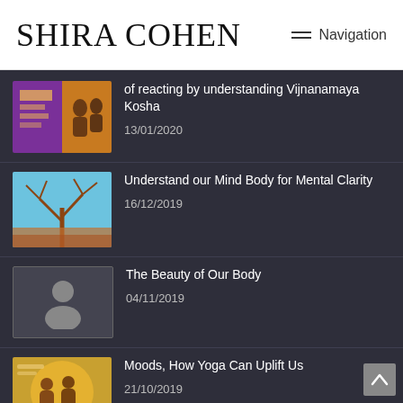SHIRA COHEN — Navigation
of reacting by understanding Vijnanamaya Kosha
13/01/2020
Understand our Mind Body for Mental Clarity
16/12/2019
The Beauty of Our Body
04/11/2019
Moods, How Yoga Can Uplift Us
21/10/2019